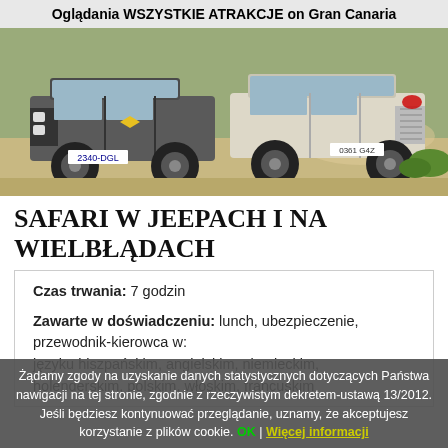Oglądania WSZYSTKIE ATRAKCJE on Gran Canaria
[Figure (photo): Two off-road vehicles (Land Rover Defender with plate 2340-DGL and a Toyota Land Cruiser with plate 0361 G4Z) driving on a dusty dirt road]
SAFARI W JEEPACH I NA WIELBŁĄDACH
Czas trwania: 7 godzin
Zawarte w doświadczeniu: lunch, ubezpieczenie, przewodnik-kierowca w: języku hiszpańskim, angielskim, niemieckim, holenderskim, polskim, włoskim, francuskim
Żądamy zgody na uzyskanie danych statystycznych dotyczących Państwa nawigacji na tej stronie, zgodnie z rzeczywistym dekretem-ustawą 13/2012. Jeśli będziesz kontynuować przeglądanie, uznamy, że akceptujesz korzystanie z plików cookie. OK | Więcej informacji